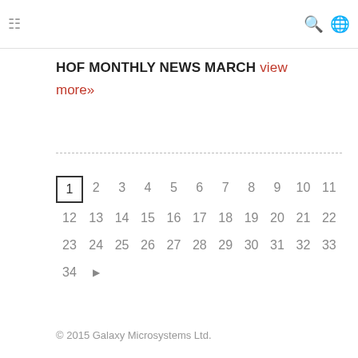☰ 🔍 🌐
HOF MONTHLY NEWS MARCH view more»
1 2 3 4 5 6 7 8 9 10 11 12 13 14 15 16 17 18 19 20 21 22 23 24 25 26 27 28 29 30 31 32 33 34
© 2015 Galaxy Microsystems Ltd.